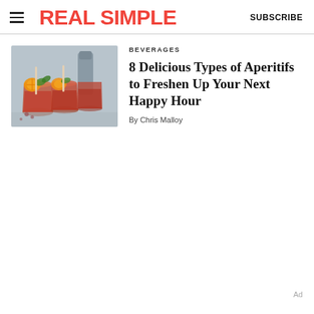REAL SIMPLE   SUBSCRIBE
[Figure (photo): Cocktail drinks with orange slices and herbs in glasses on a grey surface]
BEVERAGES
8 Delicious Types of Aperitifs to Freshen Up Your Next Happy Hour
By Chris Malloy
Ad